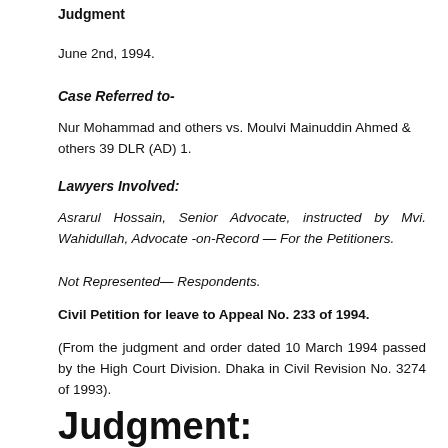Judgment
June 2nd, 1994.
Case Referred to-
Nur Mohammad and others vs. Moulvi Mainuddin Ahmed & others 39 DLR (AD) 1.
Lawyers Involved:
Asrarul Hossain, Senior Advocate, instructed by Mvi. Wahidullah, Advocate -on-Record — For the Petitioners.
Not Represented— Respondents.
Civil Petition for leave to Appeal No. 233 of 1994.
(From the judgment and order dated 10 March 1994 passed by the High Court Division. Dhaka in Civil Revision No. 3274 of 1993).
Judgment: